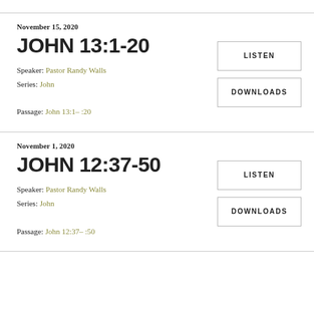November 15, 2020
JOHN 13:1-20
Speaker: Pastor Randy Walls
Series: John
Passage: John 13:1– :20
November 1, 2020
JOHN 12:37-50
Speaker: Pastor Randy Walls
Series: John
Passage: John 12:37– :50